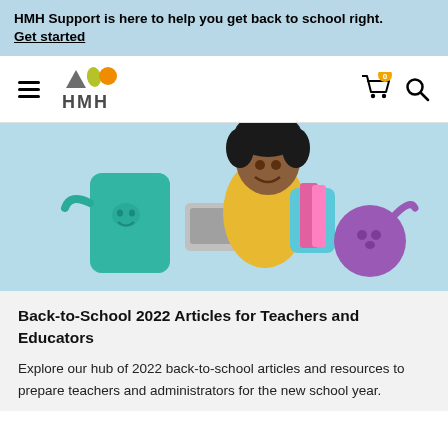HMH Support is here to help you get back to school right. Get started
[Figure (logo): HMH logo with triangle, leaf, and circle shapes above the letters HMH]
[Figure (photo): A smiling girl with curly hair wearing a yellow top and backpack, holding a laptop, flanked by illustrated cartoon characters: a teal book-like character on the left and a purple round character on the right, against a light blue background]
Back-to-School 2022 Articles for Teachers and Educators
Explore our hub of 2022 back-to-school articles and resources to prepare teachers and administrators for the new school year.